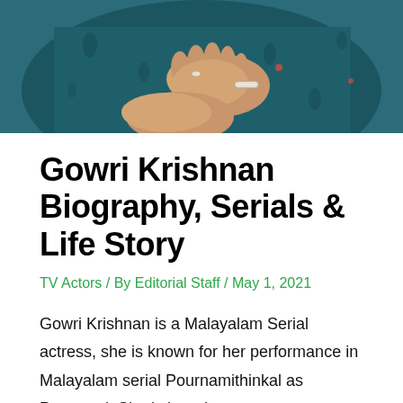[Figure (photo): Close-up photo of a woman wearing a dark teal floral outfit, hands clasped at waist level, wearing a bracelet and ring. Only the torso and hands are visible.]
Gowri Krishnan Biography, Serials & Life Story
TV Actors / By Editorial Staff / May 1, 2021
Gowri Krishnan is a Malayalam Serial actress, she is known for her performance in Malayalam serial Pournamithinkal as Pournami. She is born in Thiruvananthapuram, Kerala, India. Gowri Krishnan